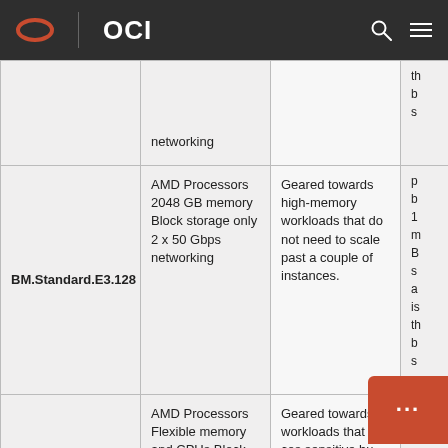OCI
| Name | Specs | Use Case | Notes (partial) |
| --- | --- | --- | --- |
|  | networking |  | th b s |
| BM.Standard.E3.128 | AMD Processors 2048 GB memory Block storage only 2 x 50 Gbps networking | Geared towards high-memory workloads that do not need to scale past a couple of instances. | p b 1 m B s a is th b s |
| VM.Standard.E3.Flex | AMD Processors Flexible memory and CPUs Block | Geared towards workloads that are cost sensitive bu | p b |